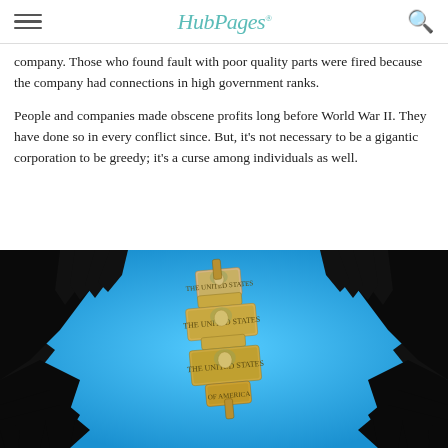HubPages
company. Those who found fault with poor quality parts were fired because the company had connections in high government ranks.
People and companies made obscene profits long before World War II. They have done so in every conflict since. But, it's not necessary to be a gigantic corporation to be greedy; it's a curse among individuals as well.
[Figure (illustration): Illustration of dark silhouetted hands reaching toward a dollar sign made of US currency bills, set against a bright blue sky background with dark claw-like hand silhouettes framing the image from all sides.]